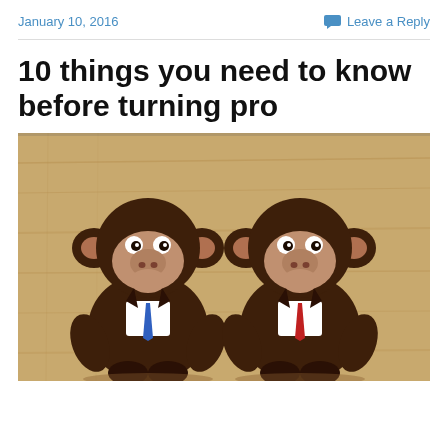January 10, 2016
Leave a Reply
10 things you need to know before turning pro
[Figure (photo): Two brown plastic wind-up monkey toys dressed in business suits with ties (one blue tie, one red tie), photographed on a wooden surface]